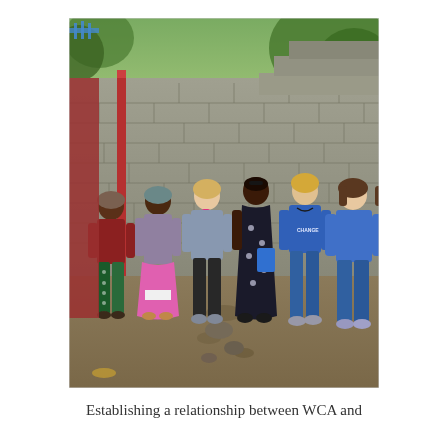[Figure (photo): Group photo of six women standing outdoors against a stone/concrete block wall with a red pipe, trees in background, and dirt ground. Two women on the left are African, wearing colorful traditional and casual clothing. Four women on the right appear to be Western visitors wearing casual and business-casual clothing in shades of grey, black, blue and pink.]
Establishing a relationship between WCA and